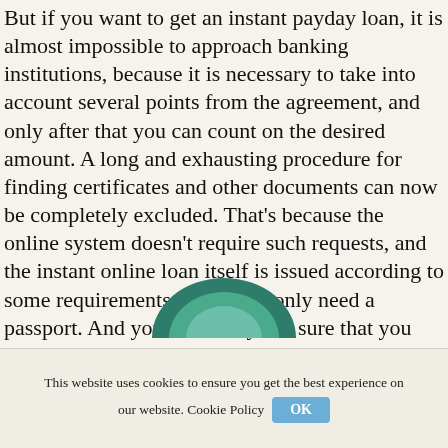But if you want to get an instant payday loan, it is almost impossible to approach banking institutions, because it is necessary to take into account several points from the agreement, and only after that you can count on the desired amount. A long and exhausting procedure for finding certificates and other documents can now be completely excluded. That's because the online system doesn't require such requests, and the instant online loan itself is issued according to some requirements, when you only need a passport. And you can always be sure that you will obtain the amount of money specified by you.
[Figure (illustration): Partial circular green logo or illustration visible at the bottom center of the page]
This website uses cookies to ensure you get the best experience on our website. Cookie Policy OK